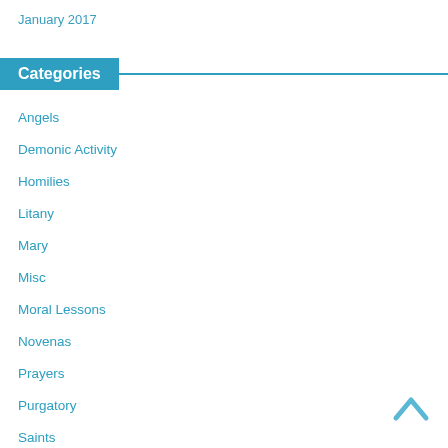January 2017
Categories
Angels
Demonic Activity
Homilies
Litany
Mary
Misc
Moral Lessons
Novenas
Prayers
Purgatory
Saints